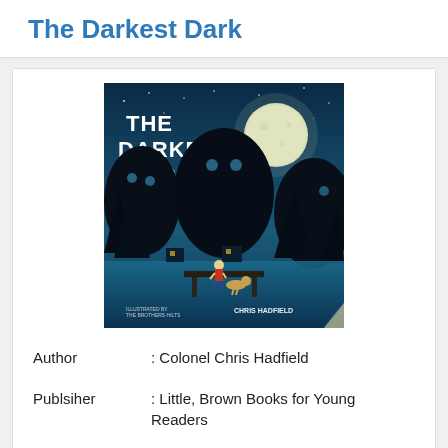The Darkest Dark
[Figure (illustration): Book cover of 'The Darkest Dark' by Chris Hadfield showing a child standing on a dock at night with a large moon and dark creature silhouettes in the background. Illustrated style with teal/dark blue color scheme.]
| Author | : Colonel Chris Hadfield |
| Publsiher | : Little, Brown Books for Young Readers |
| Total Pages | : 48 |
| Release | : 2016-10-11 |